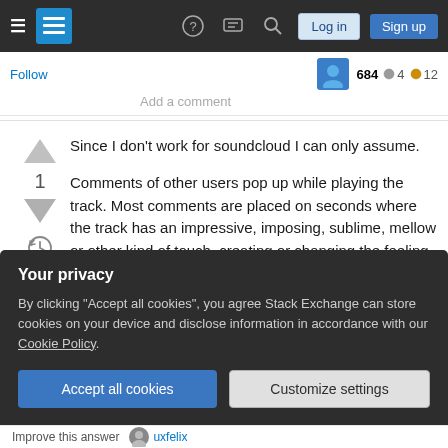Stack Exchange navigation bar with hamburger menu, logo, help, chat, search, log in, sign up
Follow  684 ◎4 ★12
Add a comment
Since I don't work for soundcloud I can only assume.

Comments of other users pop up while playing the track. Most comments are placed on seconds where the track has an impressive, imposing, sublime, mellow or other kind of touch, creating or changing the feeling of the commenter. I guess the comments
Your privacy
By clicking "Accept all cookies", you agree Stack Exchange can store cookies on your device and disclose information in accordance with our Cookie Policy.
Accept all cookies  Customize settings
Improve this answer  uxfelix